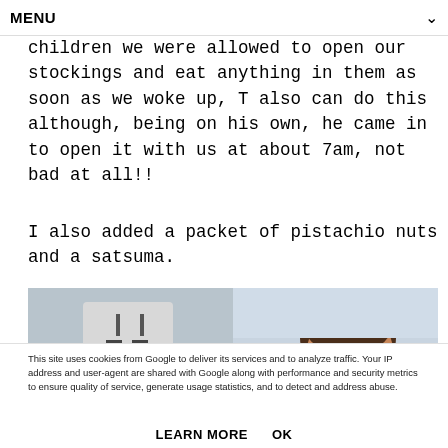MENU
children we were allowed to open our stockings and eat anything in them as soon as we woke up, T also can do this although, being on his own, he came in to open it with us at about 7am, not bad at all!!
I also added a packet of pistachio nuts and a satsuma.
[Figure (photo): Two-photo composite: left shows a wall-mounted socket/plug with fluffy white object and blue item; right shows a young boy smiling at camera]
This site uses cookies from Google to deliver its services and to analyze traffic. Your IP address and user-agent are shared with Google along with performance and security metrics to ensure quality of service, generate usage statistics, and to detect and address abuse.
LEARN MORE    OK